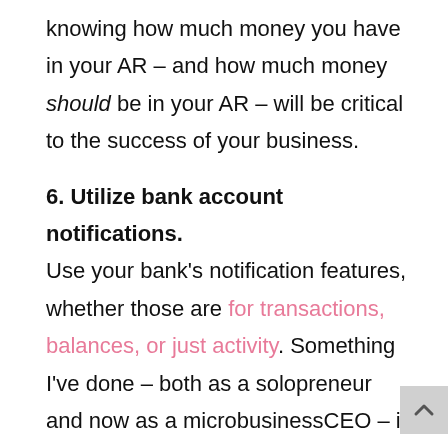knowing how much money you have in your AR – and how much money should be in your AR – will be critical to the success of your business.
6. Utilize bank account notifications.
Use your bank's notification features, whether those are for transactions, balances, or just activity. Something I've done – both as a solopreneur and now as a microbusinessCEO – is to set up a daily text notification from my various business bank accounts. This way, I can see what my balances are daily, and if anything looks weird, I'm on it immediately. You can